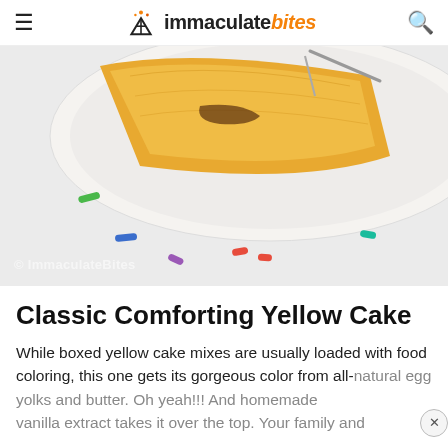immaculate bites
[Figure (photo): A slice of yellow cake on a white plate with colorful sprinkles scattered on a light surface, shot from above. A fork is visible lifting a piece of the golden-yellow cake. Watermark reads © ImmaculateBites.]
Classic Comforting Yellow Cake
While boxed yellow cake mixes are usually loaded with food coloring, this one gets its gorgeous color from all-natural egg yolks and butter. Oh yeah!!! And homemade vanilla extract takes it over the top. Your family and